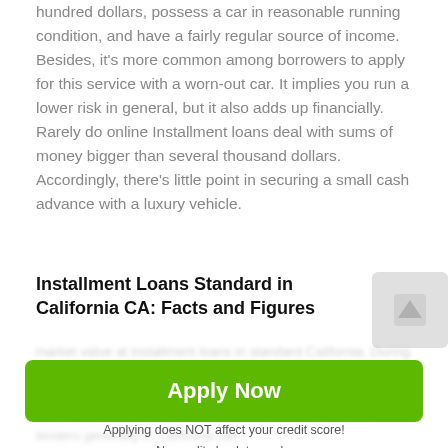hundred dollars, possess a car in reasonable running condition, and have a fairly regular source of income. Besides, it's more common among borrowers to apply for this service with a worn-out car. It implies you run a lower risk in general, but it also adds up financially. Rarely do online Installment loans deal with sums of money bigger than several thousand dollars. Accordingly, there's little point in securing a small cash advance with a luxury vehicle.
Installment Loans Standard in California CA: Facts and Figures
Direct lenders usually offer from 30 to 60% of a car's
[Figure (other): Green 'Apply Now' call-to-action button with blurred background text overlay]
Applying does NOT affect your credit score!
No credit check to apply.